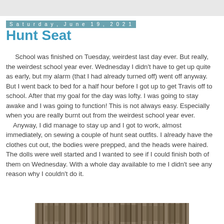Saturday, June 19, 2021
Hunt Seat
School was finished on Tuesday, weirdest last day ever. But really, the weirdest school year ever. Wednesday I didn't have to get up quite as early, but my alarm (that I had already turned off) went off anyway. But I went back to bed for a half hour before I got up to get Travis off to school. After that my goal for the day was lofty. I was going to stay awake and I was going to function! This is not always easy. Especially when you are really burnt out from the weirdest school year ever.
	Anyway, I did manage to stay up and I got to work, almost immediately, on sewing a couple of hunt seat outfits. I already have the clothes cut out, the bodies were prepped, and the heads were haired. The dolls were well started and I wanted to see if I could finish both of them on Wednesday. With a whole day available to me I didn't see any reason why I couldn't do it.
[Figure (photo): Partial view of a photo strip at the bottom of the page showing what appears to be textured fabric or natural material.]